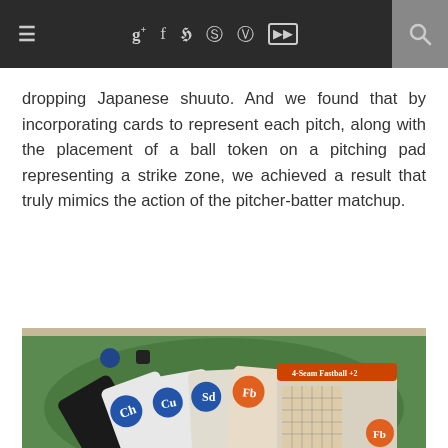≡  g+  f  t  p  ig  yt  🔍
dropping Japanese shuuto. And we found that by incorporating cards to represent each pitch, along with the placement of a ball token on a pitching pad representing a strike zone, we achieved a result that truly mimics the action of the pitcher-batter matchup.
[Figure (photo): Photo of a baseball board game with a green felt baseball diamond, several pitch cards fanned out showing characters labeled Ch, Cu, Sd, Fb, and a strikeout pattern card, with small tokens on the playing surface.]